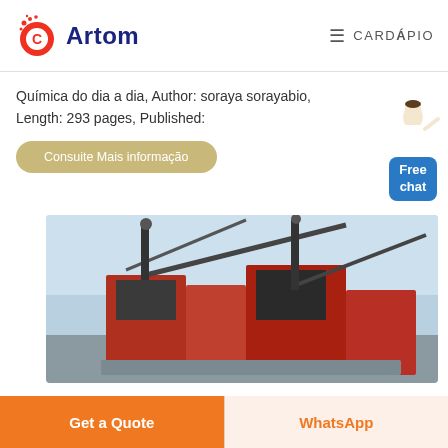Artom | CARDÁPIO
Química do dia a dia, Author: soraya sorayabio, Length: 293 pages, Published:
Consuite Mais informação
[Figure (photo): Industrial machinery or mining equipment, red metal structures with conveyor belts and cranes against a blue sky]
Get a Quote
WhatsApp